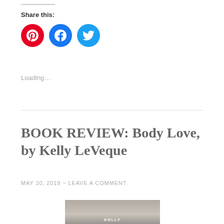Share this:
[Figure (illustration): Three social media share buttons: Pinterest (red circle with P icon), Facebook (blue circle with f icon), Twitter (light blue circle with bird icon)]
Loading…
BOOK REVIEW: Body Love, by Kelly LeVeque
MAY 20, 2019  ~  LEAVE A COMMENT
[Figure (photo): Partial photo of a book cover showing a woman with dark hair and the text KELLY at the bottom]